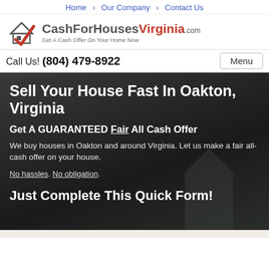Home · Our Company · Contact Us
[Figure (logo): CashForHousesVirginia.com logo with house/checkmark icon. Tagline: Get A Cash Offer On Your Home Now]
Call Us! (804) 479-8922 | Menu
Sell Your House Fast In Oakton, Virginia
Get A GUARANTEED Fair All Cash Offer
We buy houses in Oakton and around Virginia. Let us make a fair all-cash offer on your house.
No hassles. No obligation.
Just Complete This Quick Form!